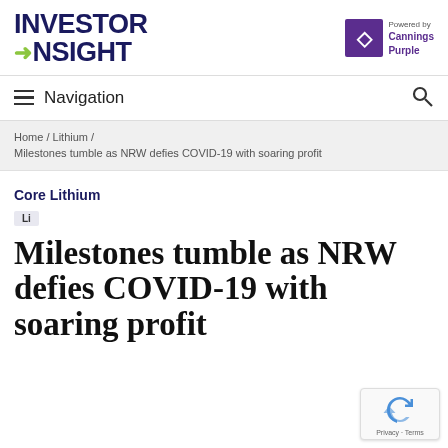INVESTOR INSIGHT — Powered by Cannings Purple
Navigation
Home / Lithium / Milestones tumble as NRW defies COVID-19 with soaring profit
Core Lithium
Li
Milestones tumble as NRW defies COVID-19 with soaring profit